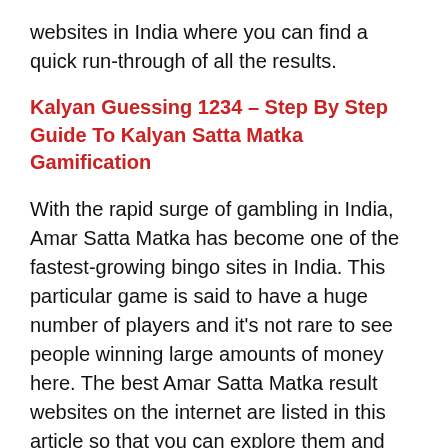websites in India where you can find a quick run-through of all the results.
Kalyan Guessing 1234 – Step By Step Guide To Kalyan Satta Matka Gamification
With the rapid surge of gambling in India, Amar Satta Matka has become one of the fastest-growing bingo sites in India. This particular game is said to have a huge number of players and it's not rare to see people winning large amounts of money here. The best Amar Satta Matka result websites on the internet are listed in this article so that you can explore them and find out which website offers the best service for your needs.